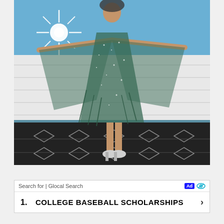[Figure (photo): A person wearing a sheer, sparkly dark green/teal sequined long dress with fringe-like embellishments, arms spread wide, standing on a black and white geometric patterned outdoor rug. A white fence wall is behind them, and a bright sun shines in the upper left. The person wears silver/white glittery heels.]
Search for | Glocal Search
1. COLLEGE BASEBALL SCHOLARSHIPS ›